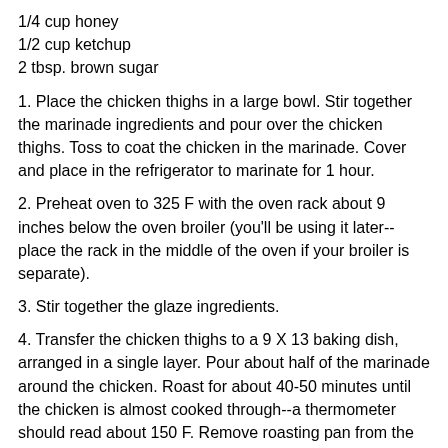1/4 cup honey
1/2 cup ketchup
2 tbsp. brown sugar
1. Place the chicken thighs in a large bowl. Stir together the marinade ingredients and pour over the chicken thighs. Toss to coat the chicken in the marinade. Cover and place in the refrigerator to marinate for 1 hour.
2. Preheat oven to 325 F with the oven rack about 9 inches below the oven broiler (you'll be using it later--place the rack in the middle of the oven if your broiler is separate).
3. Stir together the glaze ingredients.
4. Transfer the chicken thighs to a 9 X 13 baking dish, arranged in a single layer. Pour about half of the marinade around the chicken. Roast for about 40-50 minutes until the chicken is almost cooked through--a thermometer should read about 150 F. Remove roasting pan from the oven and drain off any remaining marinade.